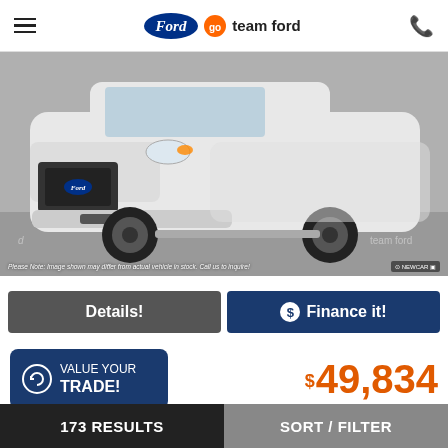go team ford
[Figure (photo): White Ford Edge SUV with black wheels and black grille displayed in a showroom setting. Disclaimer text reads: Please Note: Image shown may differ from actual vehicle in stock. Call us to inquire!]
Details!
$ Finance it!
VALUE YOUR TRADE!
$49,834
ST LINE L, 2.0L ECOBOOST, HEATED
173 RESULTS   SORT / FILTER